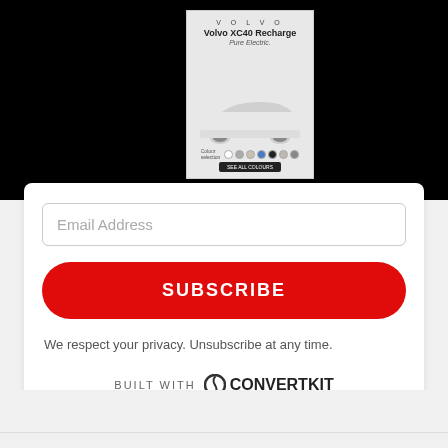[Figure (screenshot): Volvo XC40 Recharge Pure Electric advertisement with car image and color swatches]
Email Address
SUBSCRIBE
We respect your privacy. Unsubscribe at any time.
BUILT WITH ConvertKit